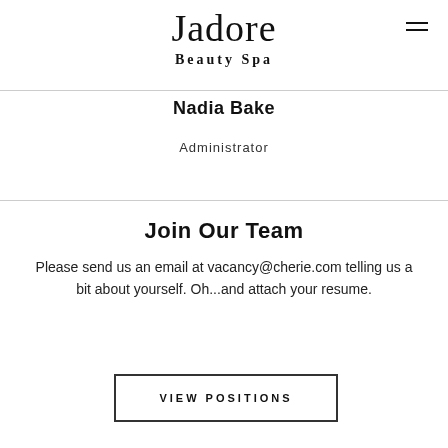Jadore
Beauty Spa
Nadia Bake
Administrator
Join Our Team
Please send us an email at vacancy@cherie.com telling us a bit about yourself. Oh...and attach your resume.
VIEW POSITIONS